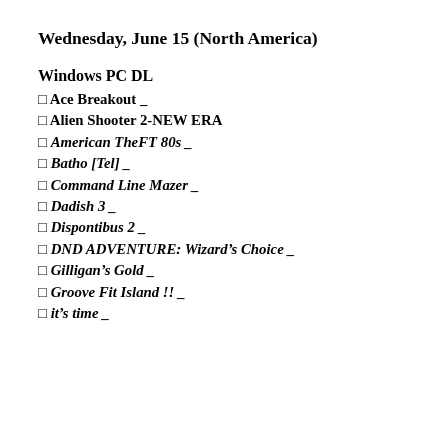Wednesday, June 15 (North America)
Windows PC DL
□ Ace Breakout _
□ Alien Shooter 2-NEW ERA
□ American TheFT 80s _
□ Batho [Tel] _
□ Command Line Mazer _
□ Dadish 3 _
□ Dispontibus 2 _
□ DND ADVENTURE: Wizard's Choice _
□ Gilligan's Gold _
□ Groove Fit Island !! _
□ it's time _